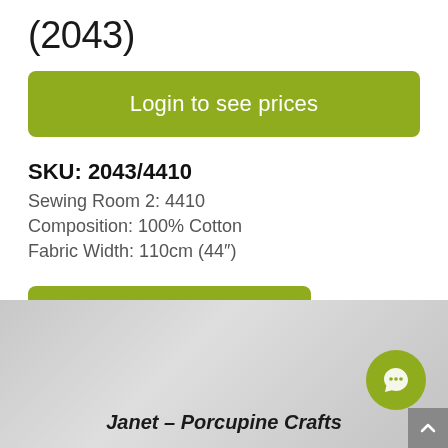(2043)
Login to see prices
SKU: 2043/4410
Sewing Room 2: 4410
Composition: 100% Cotton
Fabric Width: 110cm (44")
VIEW FULL COLLECTION
[Figure (screenshot): Light grey textured background section at the bottom of the page with a chat bubble icon (olive/green circle with speech bubble icon) in the bottom right and a scroll-up arrow button. Contains italic bold text 'Janet – Porcupine Crafts'.]
Janet – Porcupine Crafts